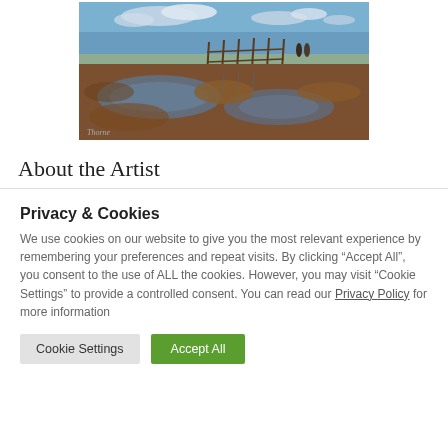[Figure (illustration): A painting of a wetland/marsh landscape with a wooden footbridge, reflective water pools, brown muddy terrain, and two small figures in the distance under a partly cloudy blue sky.]
About the Artist
Privacy & Cookies
We use cookies on our website to give you the most relevant experience by remembering your preferences and repeat visits. By clicking “Accept All”, you consent to the use of ALL the cookies. However, you may visit “Cookie Settings” to provide a controlled consent. You can read our Privacy Policy for more information
Cookie Settings   Accept All